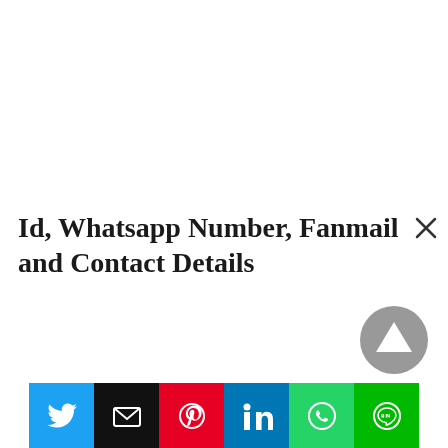Id, Whatsapp Number, Fanmail and Contact Details
[Figure (screenshot): Close (X) button in top right corner of a modal or popup overlay]
[Figure (other): Grey circular scroll-to-top button with upward arrow triangle]
[Figure (other): Social media share bar with six buttons: Twitter (blue), Email (black), Pinterest (red), LinkedIn (blue), WhatsApp (green), LINE (dark green)]